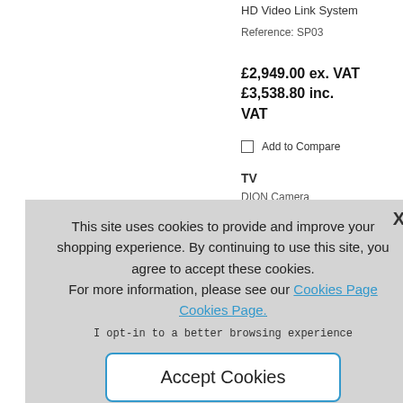HD Video Link System
Reference: SP03
£2,949.00 ex. VAT £3,538.80 inc. VAT
Add to Compare
TV
DION Camera
ibs
nce: CAME-DION
6.00 ex. VAT 9.20 inc.
to Compare
This site uses cookies to provide and improve your shopping experience. By continuing to use this site, you agree to accept these cookies.
For more information, please see our Cookies Page Cookies Page.
I opt-in to a better browsing experience
Accept Cookies